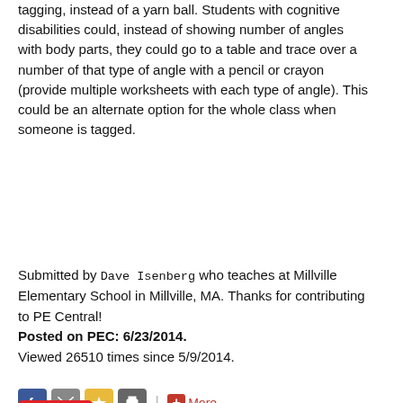tagging, instead of a yarn ball. Students with cognitive disabilities could, instead of showing number of angles with body parts, they could go to a table and trace over a number of that type of angle with a pencil or crayon (provide multiple worksheets with each type of angle). This could be an alternate option for the whole class when someone is tagged.
Submitted by Dave Isenberg who teaches at Millville Elementary School in Millville, MA. Thanks for contributing to PE Central! Posted on PEC: 6/23/2014. Viewed 26510 times since 5/9/2014.
[Figure (screenshot): Social sharing buttons row: Facebook, Email, Star/Bookmark, Print icons, pipe separator, red plus More button]
[Figure (screenshot): Pinterest Save button in red, and below a gray box with 'Anglepalc...' text, and an AdMetricsPro video ad overlay with S&S Worldwide Online Learning play button]